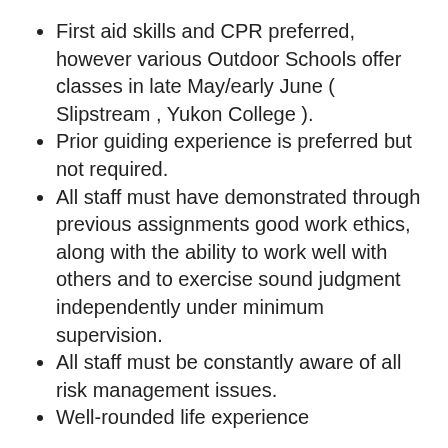First aid skills and CPR preferred, however various Outdoor Schools offer classes in late May/early June ( Slipstream , Yukon College ).
Prior guiding experience is preferred but not required.
All staff must have demonstrated through previous assignments good work ethics, along with the ability to work well with others and to exercise sound judgment independently under minimum supervision.
All staff must be constantly aware of all risk management issues.
Well-rounded life experience